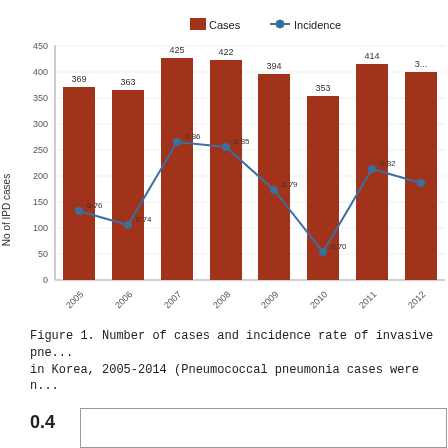[Figure (bar-chart): Number of cases and incidence rate of IPD in Korea, 2005-2014]
Figure 1. Number of cases and incidence rate of invasive pne... in Korea, 2005-2014 (Pneumococcal pneumonia cases were n...
0.4